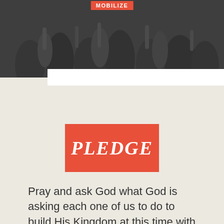[Figure (photo): Grayscale photo of a crowd of people with hands raised, partially visible at the top of the page with a dark overlay. A red label badge is partially visible at the very top center.]
PLEDGE
Pray and ask God what God is asking each one of us to do to build His Kingdom at this time with what He has